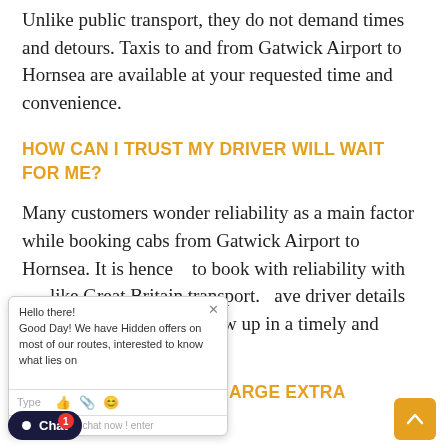Unlike public transport, they do not demand times and detours. Taxis to and from Gatwick Airport to Hornsea are available at your requested time and convenience.
HOW CAN I TRUST MY DRIVER WILL WAIT FOR ME?
Many customers wonder reliability as a main factor while booking cabs from Gatwick Airport to Hornsea. It is hence [good] to book with reliability with [operators] like Great Britain transport. [They h]ave driver details shared well in [advan]ce and follow up in a timely and [profes]sional manner.
[Figure (screenshot): Chat popup overlay from a customer support chatbot showing message: 'Hello there! Good Day! We have Hidden offers on most of our routes, interested to know what lies on [...]'. Input bar with Type label and emoji/attachment icons. Below: chat now / enter text. Also a dark navy Chat button with notification badge showing 1, and a yellow back-to-top button with upward arrow.]
HOW MUCH DO YOU CHARGE EXTRA